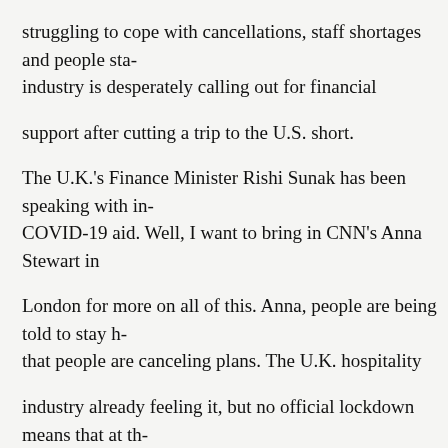struggling to cope with cancellations, staff shortages and people sta- industry is desperately calling out for financial
support after cutting a trip to the U.S. short.
The U.K.'s Finance Minister Rishi Sunak has been speaking with in- COVID-19 aid. Well, I want to bring in CNN's Anna Stewart in
London for more on all of this. Anna, people are being told to stay h- that people are canceling plans. The U.K. hospitality
industry already feeling it, but no official lockdown means that at th- support from the government.
ANNA STEWART, CNN REPORTER: That certainly seems to be t- additional financial support. There were some hangovers of